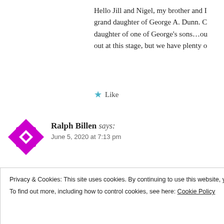Hello Jill and Nigel, my brother and I grand daughter of George A. Dunn. C daughter of one of George's sons…ou out at this stage, but we have plenty o
★ Like
Ralph Billen says:
June 5, 2020 at 7:13 pm
Hallo Jill,My wife & I bought the house we cu told at the time that it was built by Mr Dunn fo address is : Ladygrove,Hudnall Common,Littl also built the houses on either side of us for hi
Privacy & Cookies: This site uses cookies. By continuing to use this website, you agree to their use.
To find out more, including how to control cookies, see here: Cookie Policy
Close and accept